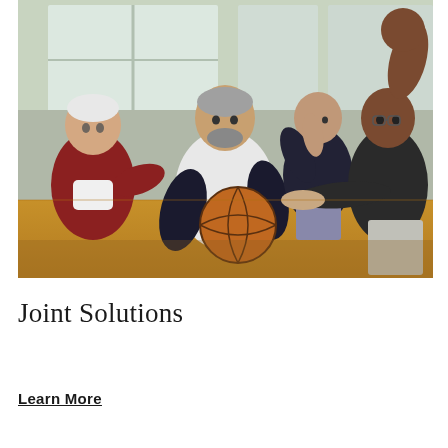[Figure (photo): Group of older adult men playing basketball in an indoor gymnasium. One man in a white jersey is holding a basketball while being defended by another player in a dark shirt. Additional players are visible in the background, arms raised.]
Joint Solutions
Learn More